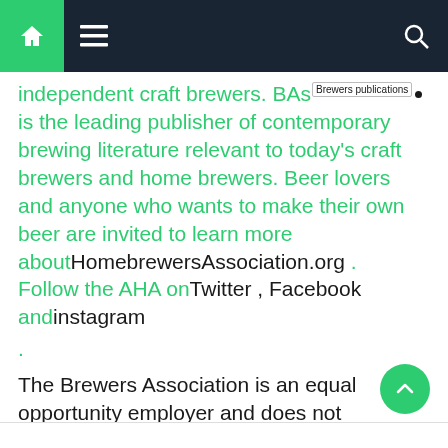Navigation bar with home, menu, and search icons
independent craft brewers. BAs [Brewers publications] is the leading publisher of contemporary brewing literature relevant to today's craft brewers and home brewers. Beer lovers and anyone who wants to make their own beer are invited to learn more about HomebrewersAssociation.org . Follow the AHA on Twitter , Facebook and instagram
.
The Brewers Association is an equal opportunity employer and does not discriminate on the basis of race, color, national origin, sex, religion, age, disability, political beliefs, orientation or marital/family status. The BA complies with the provisions of Executive Order 11246 and relevant rules, regulations and orders of the Secretary of Labor.